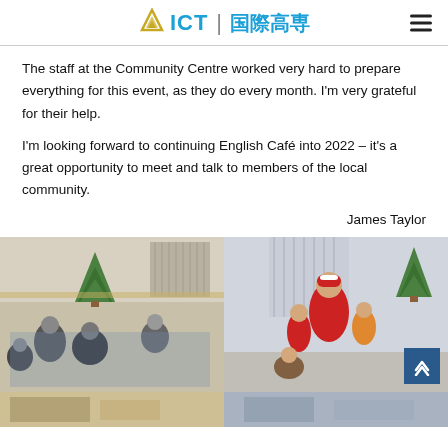ICT | 国際高専
The staff at the Community Centre worked very hard to prepare everything for this event, as they do every month. I'm very grateful for their help.
I'm looking forward to continuing English Café into 2022 – it's a great opportunity to meet and talk to members of the local community.
James Taylor
[Figure (photo): Two side-by-side photos: left shows people sitting on the floor in a community room with a Christmas tree doing activities; right shows a Santa Claus figure with children and adults in a community room with a Christmas tree.]
[Figure (photo): Bottom strip showing partial view of two more photos from the event.]